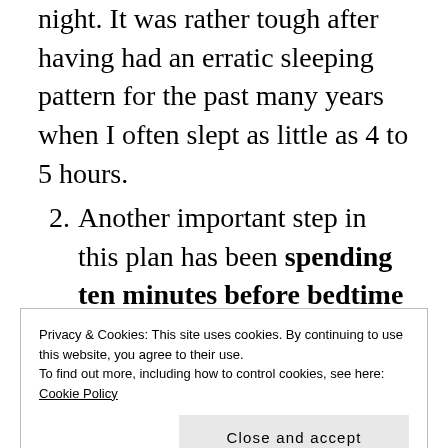night. It was rather tough after having had an erratic sleeping pattern for the past many years when I often slept as little as 4 to 5 hours.
Another important step in this plan has been spending ten minutes before bedtime having a definite plan in place about all I want to achieve in the first 4 hours of the morning. This way, before I hit the sack, I have a clear mind space, a plan in place and I sleep to wake up ready
Privacy & Cookies: This site uses cookies. By continuing to use this website, you agree to their use.
To find out more, including how to control cookies, see here: Cookie Policy
Close and accept
of bed with the enthusiasm to achieve it.